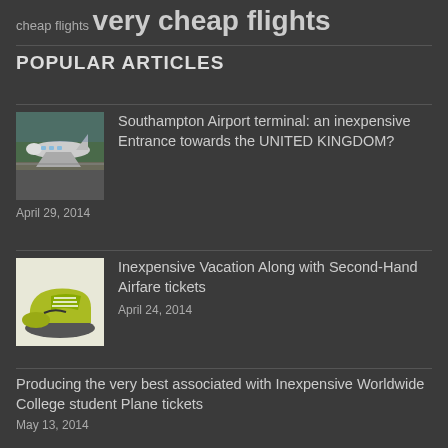cheap flights very cheap flights
POPULAR ARTICLES
Southampton Airport terminal: an inexpensive Entrance towards the UNITED KINGDOM?
April 29, 2014
Inexpensive Vacation Along with Second-Hand Airfare tickets
April 24, 2014
Producing the very best associated with Inexpensive Worldwide College student Plane tickets
May 13, 2014
Tips about how to Discover Inexpensive Plane tickets In order to Air-ports
April 29, 2014